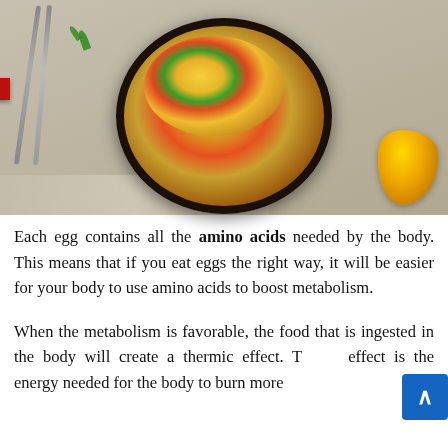[Figure (photo): Scrambled eggs with vegetables (red peppers, dill) cooked in a black cast iron skillet with a red handle, photographed from above on a light linen cloth. A yellow bell pepper is visible in the bottom right. Silverware utensils are on the left side.]
Each egg contains all the amino acids needed by the body. This means that if you eat eggs the right way, it will be easier for your body to use amino acids to boost metabolism.
When the metabolism is favorable, the food that is ingested in the body will create a thermic effect. This effect is the energy needed for the body to burn more calories. Therefore, losing weight with a more vigorous...